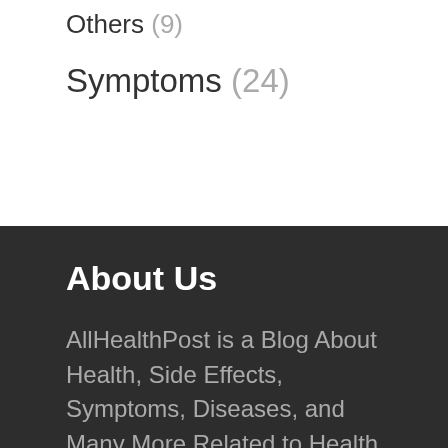Others (9)
Symptoms (24)
About Us
AllHealthPost is a Blog About Health, Side Effects, Symptoms, Diseases, and Many More Related to Health Stuff. We Don't Promote or Advertise any Health